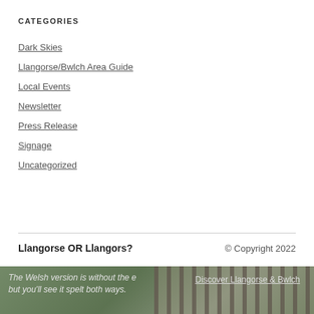CATEGORIES
Dark Skies
Llangorse/Bwlch Area Guide
Local Events
Newsletter
Press Release
Signage
Uncategorized
Llangorse OR Llangors?
© Copyright 2022
[Figure (photo): Photograph partially visible at bottom of page showing a fence and greenery, overlapping with footer text]
The Welsh version is without the e but you'll see it spelt both ways.
Discover Llangorse & Bwlch